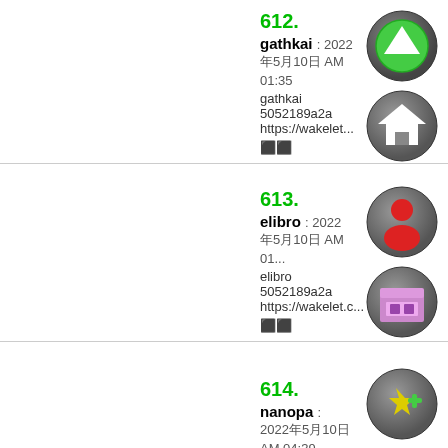612.
gathkai : 2022年5月10日 AM 01:35
gathkai 5052189a2a https://wakelet...
⬛⬛
613.
elibro : 2022年5月10日 AM 01...
elibro 5052189a2a https://wakelet.c...
⬛⬛
614.
nanopa : 2022年5月10日 AM 04:39